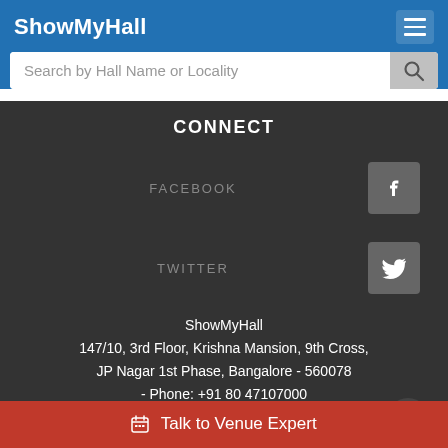ShowMyHall
Search by Hall Name or Locality
CONNECT
FACEBOOK
TWITTER
ShowMyHall
147/10, 3rd Floor, Krishna Mansion, 9th Cross,
JP Nagar 1st Phase, Bangalore - 560078
- Phone: +91 80 47107000
© 2022 ShowMyHall All rights reserved.
Talk to Venue Expert